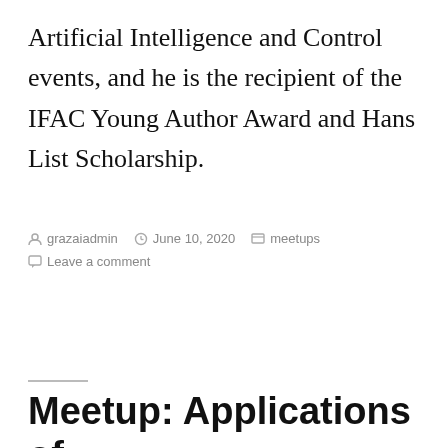Artificial Intelligence and Control events, and he is the recipient of the IFAC Young Author Award and Hans List Scholarship.
By grazaiadmin  June 10, 2020  meetups  Leave a comment
Meetup: Applications of